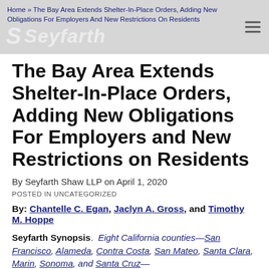Home » The Bay Area Extends Shelter-In-Place Orders, Adding New Obligations For Employers And New Restrictions On Residents
The Bay Area Extends Shelter-In-Place Orders, Adding New Obligations For Employers and New Restrictions on Residents
By Seyfarth Shaw LLP on April 1, 2020
POSTED IN UNCATEGORIZED
By: Chantelle C. Egan, Jaclyn A. Gross, and Timothy M. Hoppe
Seyfarth Synopsis. Eight California counties—San Francisco, Alameda, Contra Costa, San Mateo, Santa Clara, Marin, Sonoma, and Santa Cruz—